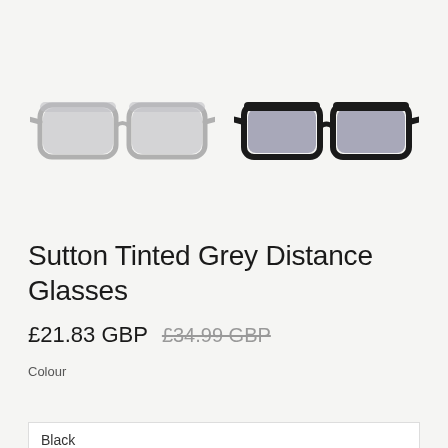[Figure (photo): Two pairs of Sutton Tinted Grey Distance Glasses side by side. Left pair has a transparent/grey frame with grey tinted lenses. Right pair has a black frame with grey tinted lenses.]
Sutton Tinted Grey Distance Glasses
£21.83 GBP £34.99 GBP
Colour
Black